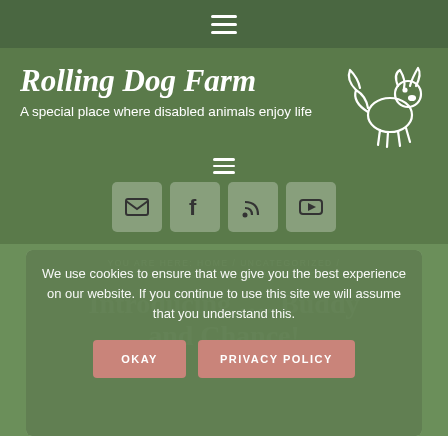≡
Rolling Dog Farm
A special place where disabled animals enjoy life
[Figure (logo): Rolling Dog Farm logo with illustrated dog outline in white on green background]
≡
[Figure (infographic): Social media icon buttons: email, Facebook, RSS feed, YouTube]
YOU ARE HERE: HOME / UNCATEGORIZED /
"INTRODUCING …. BUDDY AND CHANCE"
We use cookies to ensure that we give you the best experience on our website. If you continue to use this site we will assume that you understand this.
OKAY
PRIVACY POLICY
Introducing …. Buddy and Chance!